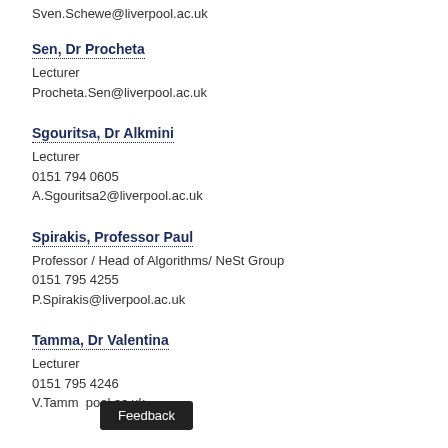Sven.Schewe@liverpool.ac.uk
Sen, Dr Procheta
Lecturer
Procheta.Sen@liverpool.ac.uk
Sgouritsa, Dr Alkmini
Lecturer
0151 794 0605
A.Sgouritsa2@liverpool.ac.uk
Spirakis, Professor Paul
Professor / Head of Algorithms/ NeSt Group
0151 795 4255
P.Spirakis@liverpool.ac.uk
Tamma, Dr Valentina
Lecturer
0151 795 4246
V.Tamma...@liverpool.ac.uk